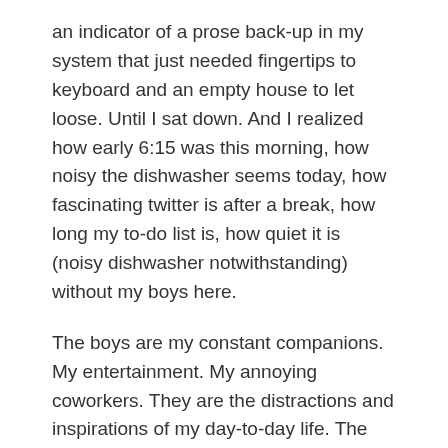an indicator of a prose back-up in my system that just needed fingertips to keyboard and an empty house to let loose. Until I sat down. And I realized how early 6:15 was this morning, how noisy the dishwasher seems today, how fascinating twitter is after a break, how long my to-do list is, how quiet it is (noisy dishwasher notwithstanding) without my boys here.
The boys are my constant companions. My entertainment. My annoying coworkers. They are the distractions and inspirations of my day-to-day life. The night before any holiday break finds me anxious and nervous about how I'll make it through so many days that need to be filled with play time and movement and food and activity with nary a moment of quiet to myself. Strangely, the night before any break's end finds me anxious and nervous about how I'll make it through